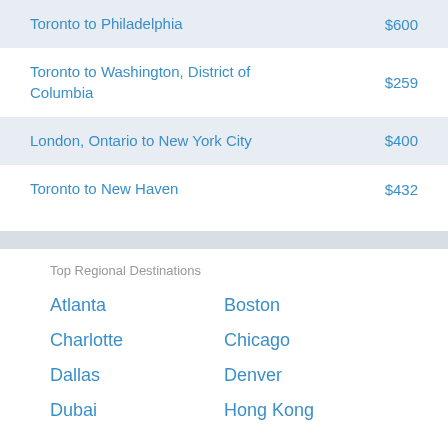Toronto to Philadelphia — $600
Toronto to Washington, District of Columbia — $259
London, Ontario to New York City — $400
Toronto to New Haven — $432
Top Regional Destinations
Atlanta
Boston
Charlotte
Chicago
Dallas
Denver
Dubai
Hong Kong